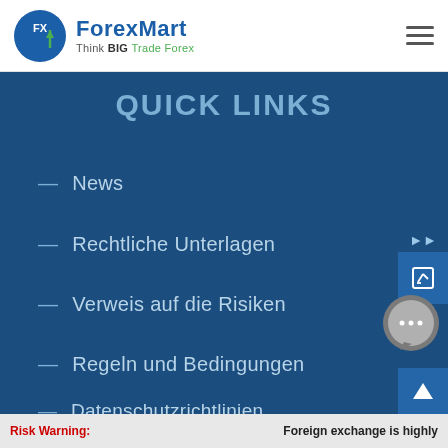[Figure (logo): ForexMart logo with circular FX icon and tagline 'Think BIG Trade Forex']
QUICK LINKS
— News
— Rechtliche Unterlagen
— Verweis auf die Risiken
— Regeln und Bedingungen
— Datenschutzrichtlinien
Risk Warning: Foreign exchange is highly